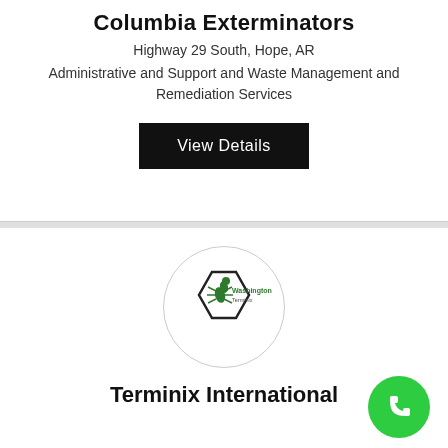Columbia Exterminators
Highway 29 South, Hope, AR
Administrative and Support and Waste Management and Remediation Services
View Details
[Figure (logo): Washington Terminix circular logo with green ant/pest icon]
Terminix International
[Figure (illustration): Green circular phone/call button icon]